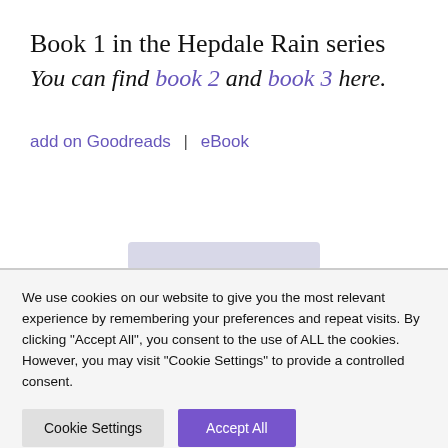Book 1 in the Hepdale Rain series
You can find book 2 and book 3 here.
add on Goodreads  |  eBook
We use cookies on our website to give you the most relevant experience by remembering your preferences and repeat visits. By clicking "Accept All", you consent to the use of ALL the cookies. However, you may visit "Cookie Settings" to provide a controlled consent.
Cookie Settings | Accept All